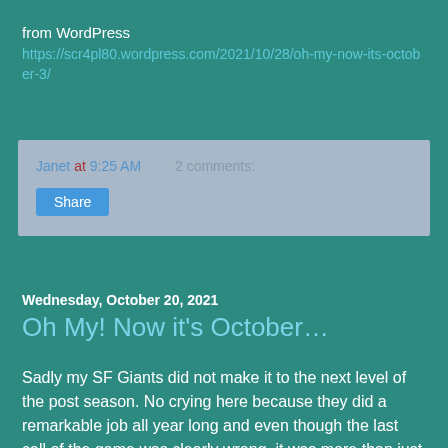from WordPress
https://scr4pl80.wordpress.com/2021/10/28/oh-my-now-its-october-3/
Janet at 9:25 AM   2 comments:
Share
Wednesday, October 20, 2021
Oh My! Now it's October…
Sadly my SF Giants did not make it to the next level of the post season. No crying here because they did a remarkable job all year long and even though the last call of the game was clearly wrong, it was more than just one call that prevented their advancement. We will definitely be getting our membership in the 415 club again next year and hopefully the powers that be will sign all the good guys